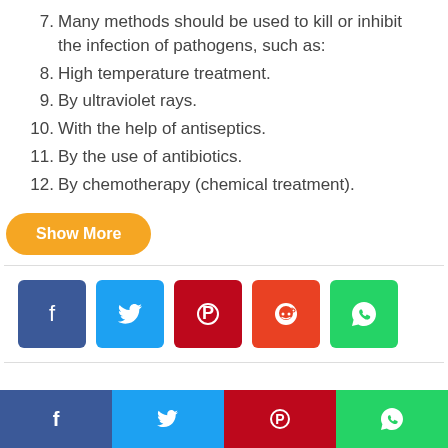7. Many methods should be used to kill or inhibit the infection of pathogens, such as:
8. High temperature treatment.
9. By ultraviolet rays.
10. With the help of antiseptics.
11. By the use of antibiotics.
12. By chemotherapy (chemical treatment).
[Figure (infographic): Show More button (orange pill-shaped), social share buttons (Facebook, Twitter, Pinterest, Reddit, WhatsApp), and a bottom bar with four social icons (Facebook, Twitter, Pinterest, WhatsApp).]